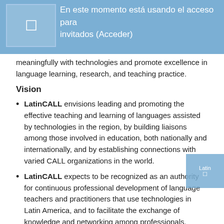En este momento está usando el acceso para invitados (Acceder)
meaningfully with technologies and promote excellence in language learning, research, and teaching practice.
Vision
LatinCALL envisions leading and promoting the effective teaching and learning of languages assisted by technologies in the region, by building liaisons among those involved in education, both nationally and internationally, and by establishing connections with varied CALL organizations in the world.
LatinCALL expects to be recognized as an authority for continuous professional development of language teachers and practitioners that use technologies in Latin America, and to facilitate the exchange of knowledge and networking among professionals.
Goals